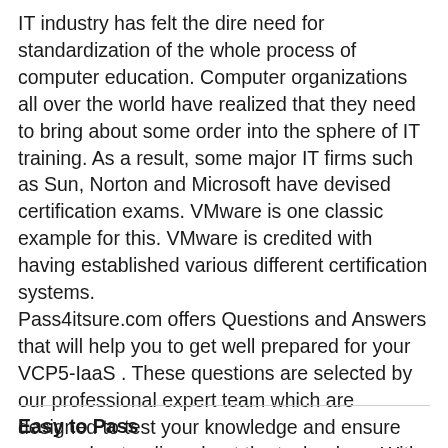IT industry has felt the dire need for standardization of the whole process of computer education. Computer organizations all over the world have realized that they need to bring about some order into the sphere of IT training. As a result, some major IT firms such as Sun, Norton and Microsoft have devised certification exams. VMware is one classic example for this. VMware is credited with having established various different certification systems.
Pass4itsure.com offers Questions and Answers that will help you to get well prepared for your VCP5-IaaS . These questions are selected by our professional expert team which are designed to test your knowledge and ensure your understanding about the technology. With our materials, you will sure to pass the exams and get the VCP5-IaaS certification.
Easy to Pass